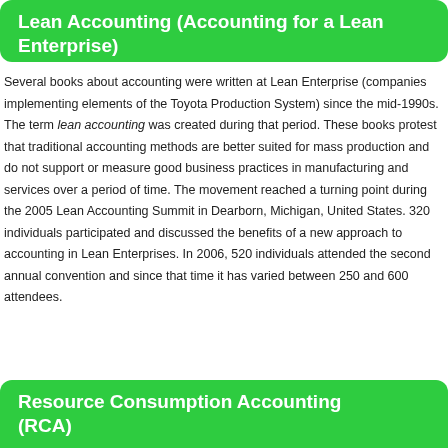Lean Accounting (Accounting for a Lean Enterprise)
Several books about accounting were written at Lean Enterprise (companies implementing elements of the Toyota Production System) since the mid-1990s. The term lean accounting was created during that period. These books protest that traditional accounting methods are better suited for mass production and do not support or measure good business practices in manufacturing and services over a period of time. The movement reached a turning point during the 2005 Lean Accounting Summit in Dearborn, Michigan, United States. 320 individuals participated and discussed the benefits of a new approach to accounting in Lean Enterprises. In 2006, 520 individuals attended the second annual convention and since that time it has varied between 250 and 600 attendees.
Resource Consumption Accounting (RCA)